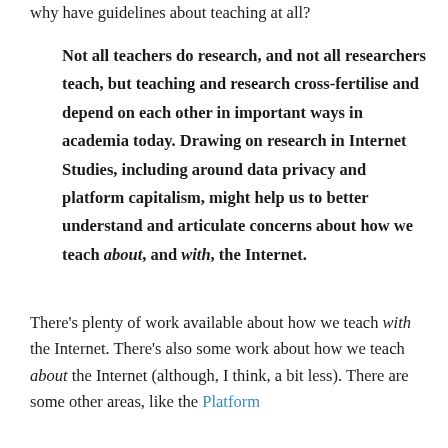why have guidelines about teaching at all?
Not all teachers do research, and not all researchers teach, but teaching and research cross-fertilise and depend on each other in important ways in academia today. Drawing on research in Internet Studies, including around data privacy and platform capitalism, might help us to better understand and articulate concerns about how we teach about, and with, the Internet.
There's plenty of work available about how we teach with the Internet. There's also some work about how we teach about the Internet (although, I think, a bit less). There are some other areas, like the Platform